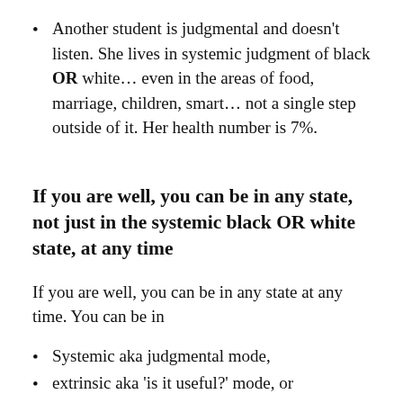Another student is judgmental and doesn't listen. She lives in systemic judgment of black OR white… even in the areas of food, marriage, children, smart… not a single step outside of it. Her health number is 7%.
If you are well, you can be in any state, not just in the systemic black OR white state, at any time
If you are well, you can be in any state at any time. You can be in
Systemic aka judgmental mode,
extrinsic aka ‘is it useful?’ mode, or
intrinsic mode: the ‘benevolent all seeing